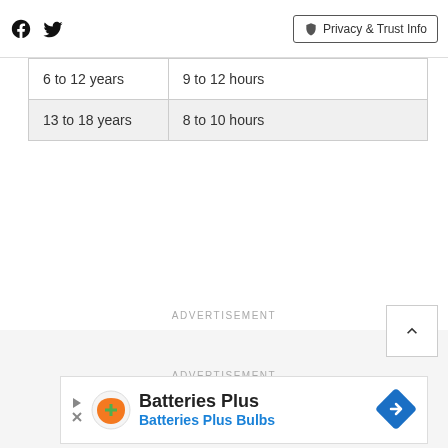Facebook | Twitter | Privacy & Trust Info
| 6 to 12 years | 9 to 12 hours |
| 13 to 18 years | 8 to 10 hours |
ADVERTISEMENT
ADVERTISEMENT
[Figure (other): Batteries Plus / Batteries Plus Bulbs advertisement banner with orange circle logo and blue diamond direction sign icon]
[Figure (other): Scroll to top button with upward chevron arrow]